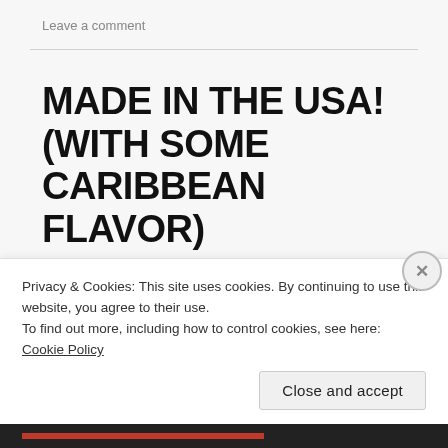Leave a comment
MADE IN THE USA! (WITH SOME CARIBBEAN FLAVOR)
“There’s just something about having the right amount of coverage while still revealing your sexiness!”  – DS
That's my idea behind creating the perfect cover-up.
Privacy & Cookies: This site uses cookies. By continuing to use this website, you agree to their use.
To find out more, including how to control cookies, see here: Cookie Policy
Close and accept